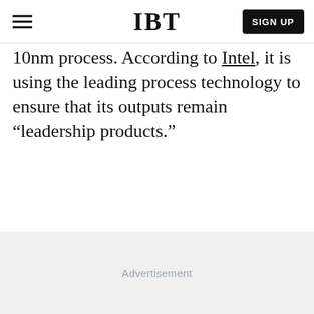IBT
10nm process. According to Intel, it is using the leading process technology to ensure that its outputs remain “leadership products.”
[Figure (other): Advertisement placeholder area with light gray background and centered 'Advertisement' label]